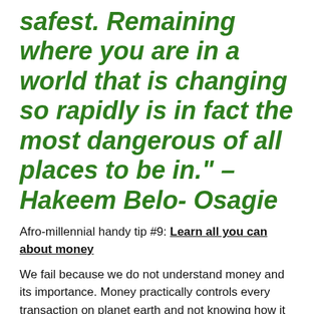safest. Remaining where you are in a world that is changing so rapidly is in fact the most dangerous of all places to be in." – Hakeem Belo- Osagie
Afro-millennial handy tip #9: Learn all you can about money
We fail because we do not understand money and its importance. Money practically controls every transaction on planet earth and not knowing how it works means that you might not be able to control it or even make it grow once given to you. As the millennial africans, we need to